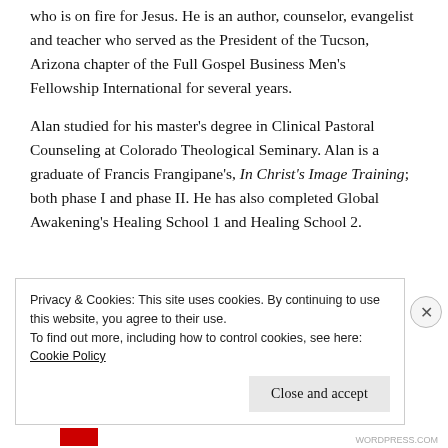who is on fire for Jesus. He is an author, counselor, evangelist and teacher who served as the President of the Tucson, Arizona chapter of the Full Gospel Business Men's Fellowship International for several years.
Alan studied for his master's degree in Clinical Pastoral Counseling at Colorado Theological Seminary. Alan is a graduate of Francis Frangipane's, In Christ's Image Training; both phase I and phase II. He has also completed Global Awakening's Healing School 1 and Healing School 2.
Privacy & Cookies: This site uses cookies. By continuing to use this website, you agree to their use.
To find out more, including how to control cookies, see here: Cookie Policy
Close and accept